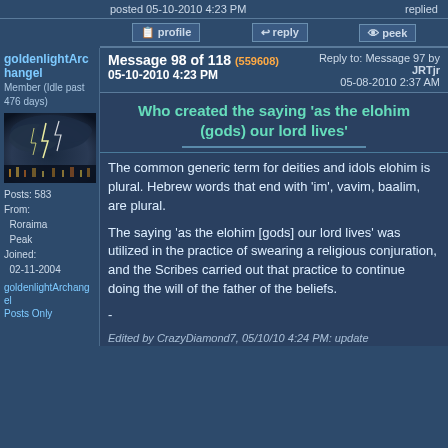posted 05-10-2010 4:23 PM    replied
profile  reply  peek
goldenlightArchangel
Member (Idle past 476 days)
Message 98 of 118 (559608)
05-10-2010 4:23 PM
Reply to: Message 97 by JRTjr
05-08-2010 2:37 AM
Who created the saying 'as the elohim (gods) our lord lives'
Posts: 583
From: Roraima Peak
Joined: 02-11-2004
goldenlightArchangel Posts Only
The common generic term for deities and idols elohim is plural. Hebrew words that end with 'im', vavim, baalim, are plural.
The saying 'as the elohim [gods] our lord lives' was utilized in the practice of swearing a religious conjuration, and the Scribes carried out that practice to continue doing the will of the father of the beliefs.
-
Edited by CrazyDiamond7, 05/10/10 4:24 PM: update